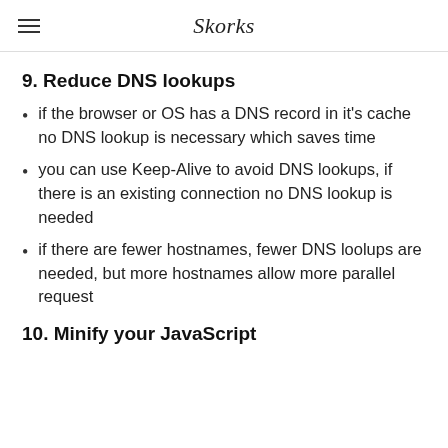Skorks
9. Reduce DNS lookups
if the browser or OS has a DNS record in it's cache no DNS lookup is necessary which saves time
you can use Keep-Alive to avoid DNS lookups, if there is an existing connection no DNS lookup is needed
if there are fewer hostnames, fewer DNS loolups are needed, but more hostnames allow more parallel request
10. Minify your JavaScript